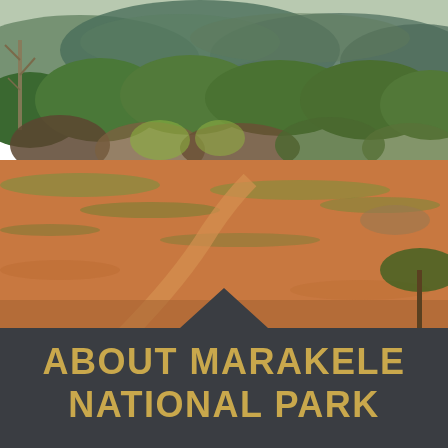[Figure (photo): Landscape photograph of Marakele National Park showing a dry savanna scene with red-orange sandy ground, green scrub brush and acacia trees in the middle ground, and blue-green mountains in the background under a hazy sky.]
ABOUT MARAKELE NATIONAL PARK